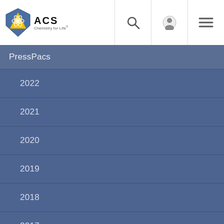ACS Chemistry for Life
PressPacs
2022
2021
2020
2019
2018
2017
2016
2015
2014